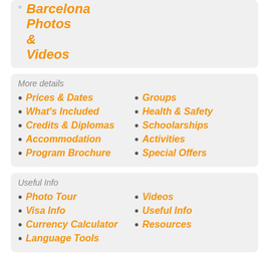Barcelona Photos & Videos
More details
Prices & Dates
Groups
What's Included
Health & Safety
Credits & Diplomas
Schoolarships
Accommodation
Activities
Program Brochure
Special Offers
Useful Info
Photo Tour
Videos
Visa Info
Useful Info
Currency Calculator
Resources
Language Tools